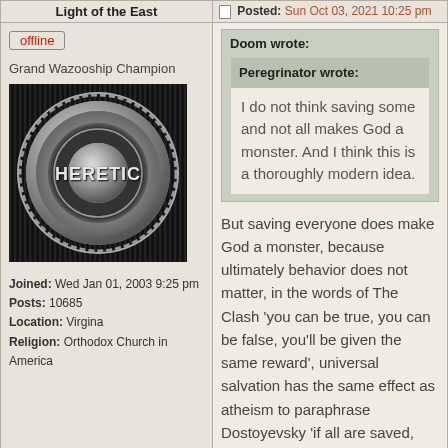Light of the East
Posted: Sun Oct 03, 2021 10:25 pm
offline
Grand Wazooship Champion
[Figure (photo): Avatar image with HERETIC badge on dark striped background]
Joined: Wed Jan 01, 2003 9:25 pm
Posts: 10685
Location: Virgina
Religion: Orthodox Church in America
Doom wrote:
Peregrinator wrote:
I do not think saving some and not all makes God a monster. And I think this is a thoroughly modern idea.
But saving everyone does make God a monster, because ultimately behavior does not matter, in the words of The Clash 'you can be true, you can be false, you'll be given the same reward', universal salvation has the same effect as atheism to paraphrase Dostoyevsky 'if all are saved, everything is permissible'